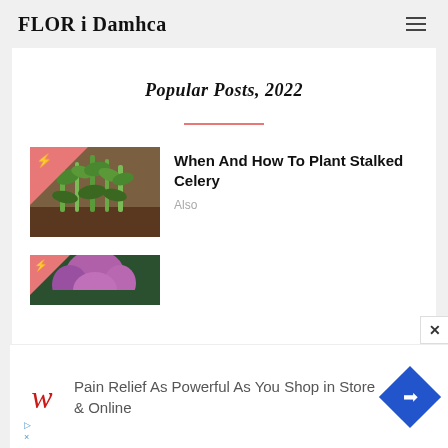FLOR i Damhca
Popular Posts, 2022
[Figure (photo): Photo of celery/plant seedlings with a pink triangle overlay in the top-left corner containing a lightning bolt icon]
When And How To Plant Stalked Celery
Also
[Figure (photo): Partial photo of purple flower with a pink triangle overlay, partially visible at bottom of page]
[Figure (infographic): Advertisement banner: Walgreens logo with text 'Pain Relief As Powerful As You Shop in Store & Online' and a blue diamond navigation icon]